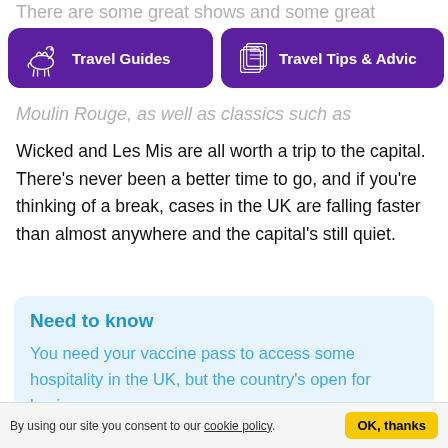There are some great shows and some great
[Figure (other): Travel Guides navigation button with camel icon on purple background]
[Figure (other): Travel Tips & Advice navigation button with tips/cards icon on purple background]
Moulin Rouge, as well as classics such as
Wicked and Les Mis are all worth a trip to the capital. There's never been a better time to go, and if you're thinking of a break, cases in the UK are falling faster than almost anywhere and the capital's still quiet.
Need to know
You need your vaccine pass to access some hospitality in the UK, but the country's open for business.
By using our site you consent to our cookie policy. OK, thanks